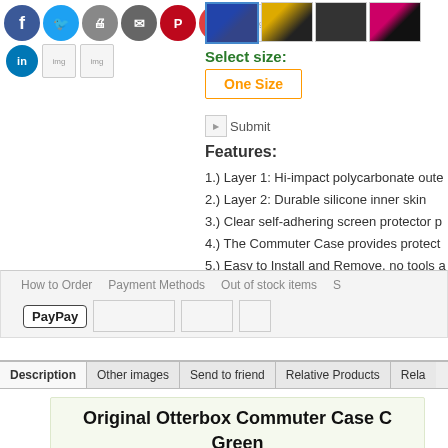[Figure (other): Social media share icons: Facebook, Twitter, Print, Email, Pinterest, Gmail, and share image buttons]
[Figure (other): Product color thumbnails: blue/black, yellow/black, black, pink/black phone cases]
Select size:
One Size
[Figure (other): Submit button image]
Features:
1.) Layer 1: Hi-impact polycarbonate oute...
2.) Layer 2: Durable silicone inner skin
3.) Clear self-adhering screen protector p...
4.) The Commuter Case provides protect...
5.) Easy to Install and Remove, no tools a...
6.) Compatible with iPhone 4G 4S
How to Order  Payment Methods  Out of stock items  S...
[Figure (other): PayPay and other payment method icons]
Description  Other images  Send to friend  Relative Products  Rela...
Original Otterbox Commuter Case C... Green